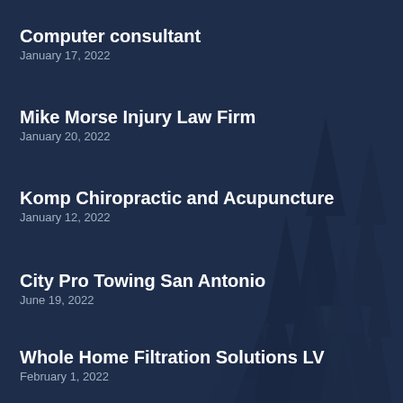Computer consultant
January 17, 2022
Mike Morse Injury Law Firm
January 20, 2022
Komp Chiropractic and Acupuncture
January 12, 2022
City Pro Towing San Antonio
June 19, 2022
Whole Home Filtration Solutions LV
February 1, 2022